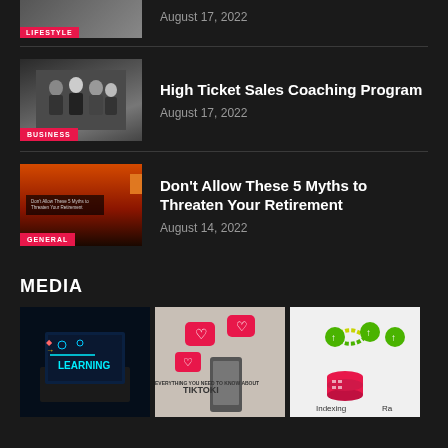[Figure (photo): Partially visible top article thumbnail with LIFESTYLE badge and date August 17, 2022]
August 17, 2022
[Figure (photo): Business meeting photo with people in suits shaking hands, BUSINESS category badge]
High Ticket Sales Coaching Program
August 17, 2022
[Figure (photo): Orange/red graphic with text Don't Allow These 5 Myths to Threaten Your Retirement, GENERAL badge]
Don't Allow These 5 Myths to Threaten Your Retirement
August 14, 2022
MEDIA
[Figure (photo): Dark background with LEARNING text on a laptop screen graphic]
[Figure (photo): Social media icons on light background with text EVERYTHING YOU NEED TO KNOW ABOUT TIKTOK]
[Figure (photo): Indexing illustration with green and yellow circular arrows, database icons, text Indexing]